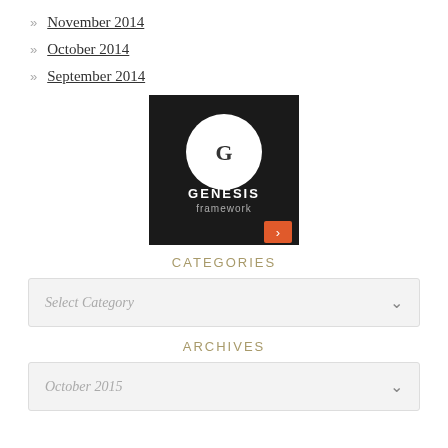November 2014
October 2014
September 2014
[Figure (logo): Genesis Framework logo: dark background with large white circle containing letter G, bold white text GENESIS, lighter text framework, orange arrow button at bottom right]
CATEGORIES
Select Category
ARCHIVES
October 2015